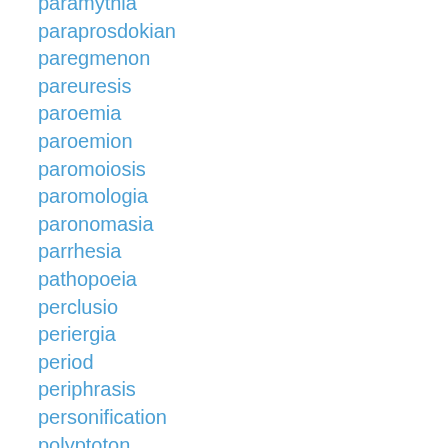paramythia
paraprosdokian
paregmenon
pareuresis
paroemia
paroemion
paromoiosis
paromologia
paronomasia
parrhesia
pathopoeia
perclusio
periergia
period
periphrasis
personification
polyptoton
polysyndeton
procatalepsis
prodiorthosis